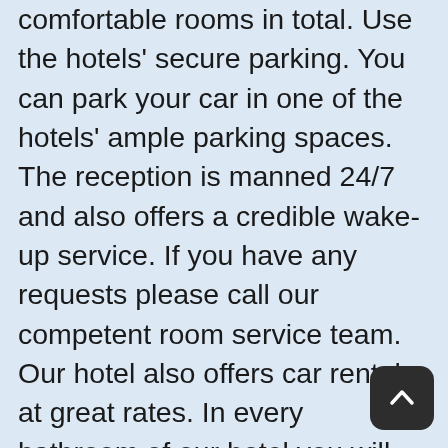comfortable rooms in total. Use the hotels' secure parking. You can park your car in one of the hotels' ample parking spaces. The reception is manned 24/7 and also offers a credible wake-up service. If you have any requests please call our competent room service team. Our hotel also offers car rental at great rates. In every bathroom of our hotel you will find a hairdryer and a bathrobe. All the comfortable rooms are fully equipped with a television and telephone. The comfortable rooms are air conditioned and have FREE Internet access. Some of the beautifully designed rooms have their own balcony. Our hotel also offers comfortable non-smoking rooms (please communicate this request when making your online reservation). As an additional services and facilities we provide you with laundry, hotel taxi with driver, 24 hours travel booking service, airport transfer service, tour gu... cosmetic service indoor and outdoor, fitness club...